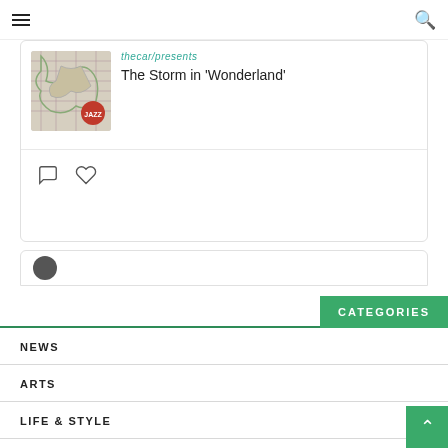Navigation bar with hamburger menu and search icon
[Figure (screenshot): Card showing a map/newspaper image thumbnail with a red badge, linked article text 'the&or presents' and title 'The Storm in Wonderland', with comment and like icons below]
CATEGORIES
NEWS
ARTS
LIFE & STYLE
OPINIONS